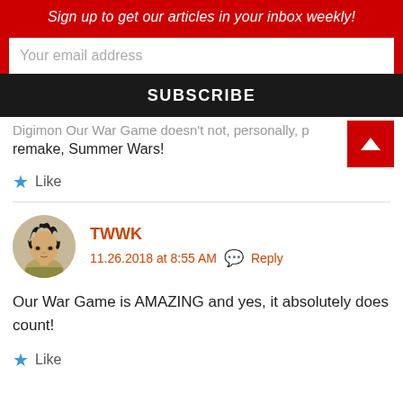Sign up to get our articles in your inbox weekly!
Your email address
SUBSCRIBE
remake, Summer Wars!
Like
TWWK
11.26.2018 at 8:55 AM  Reply
Our War Game is AMAZING and yes, it absolutely does count!
Like